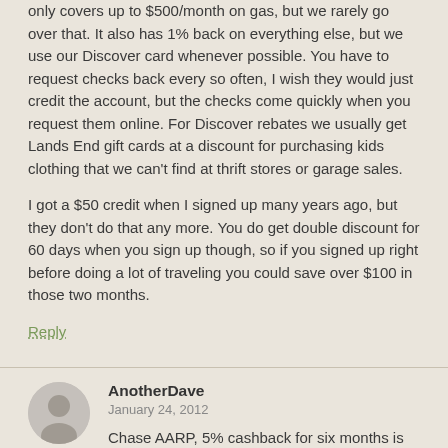only covers up to $500/month on gas, but we rarely go over that. It also has 1% back on everything else, but we use our Discover card whenever possible. You have to request checks back every so often, I wish they would just credit the account, but the checks come quickly when you request them online. For Discover rebates we usually get Lands End gift cards at a discount for purchasing kids clothing that we can't find at thrift stores or garage sales.
I got a $50 credit when I signed up many years ago, but they don't do that any more. You do get double discount for 60 days when you sign up though, so if you signed up right before doing a lot of traveling you could save over $100 in those two months.
Reply
AnotherDave
January 24, 2012
Chase AARP, 5% cashback for six months is ideal for the people with significant expenditures, ah, including me.
Only problem is I'll need to find a replacement card in 3 months.